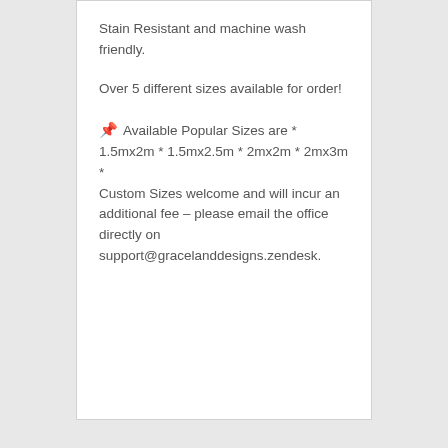Stain Resistant and machine wash friendly.
Over 5 different sizes available for order!
📌 Available Popular Sizes are * 1.5mx2m * 1.5mx2.5m * 2mx2m * 2mx3m * Custom Sizes welcome and will incur an additional fee – please email the office directly on support@gracelanddesigns.zendesk.